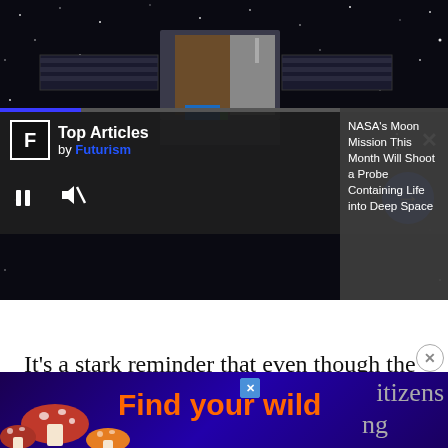[Figure (screenshot): Space/satellite video player with dark space background showing a spacecraft, with Futurism Top Articles overlay, progress bar, play/pause and mute controls, and a blue circular arrow button. Headline panel on right reads: NASA's Moon Mission This Month Will Shoot a Probe Containing Life into Deep Space]
It's a stark reminder that even though the coronavirus pandemic has hit us hard, other lurking health concerns haven't magically disappeared.
[Figure (screenshot): Advertisement banner: dark purple/blue background with mushrooms on left, orange bold text 'Find your wild', with an x/close badge. Partially visible text on right: 'itizens' and 'ng']